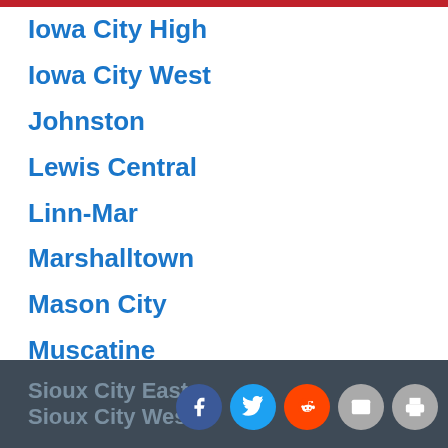Iowa City High
Iowa City West
Johnston
Lewis Central
Linn-Mar
Marshalltown
Mason City
Muscatine
Newton
North Scott
Ottumwa
Pleasant Valley
Sioux City East
Sioux City West